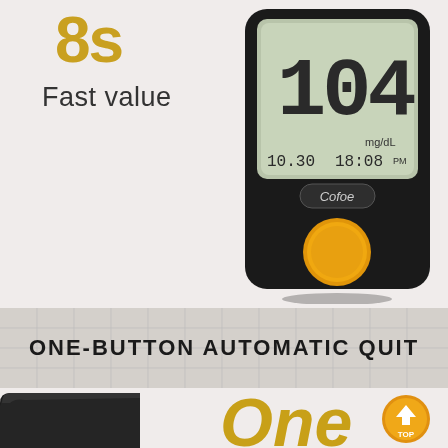8s
Fast value
[Figure (photo): Black Cofoe blood glucose meter displaying 104 mg/dL, date 10.30, time 18:08 PM, with a large orange/yellow button]
ONE-BUTTON AUTOMATIC QUIT
[Figure (photo): Close-up of a black lancet pen device at bottom left]
One
[Figure (other): Orange TOP scroll-to-top badge button]